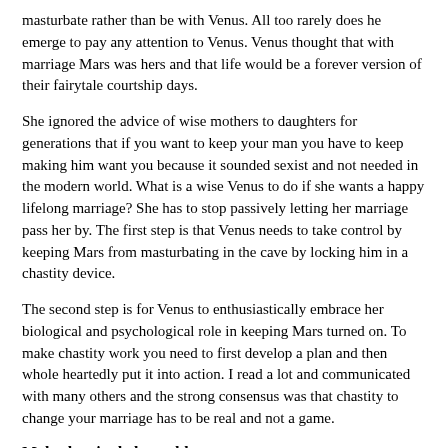masturbate rather than be with Venus. All too rarely does he emerge to pay any attention to Venus. Venus thought that with marriage Mars was hers and that life would be a forever version of their fairytale courtship days.
She ignored the advice of wise mothers to daughters for generations that if you want to keep your man you have to keep making him want you because it sounded sexist and not needed in the modern world. What is a wise Venus to do if she wants a happy lifelong marriage? She has to stop passively letting her marriage pass her by. The first step is that Venus needs to take control by keeping Mars from masturbating in the cave by locking him in a chastity device.
The second step is for Venus to enthusiastically embrace her biological and psychological role in keeping Mars turned on. To make chastity work you need to first develop a plan and then whole heartedly put it into action. I read a lot and communicated with many others and the strong consensus was that chastity to change your marriage has to be real and not a game.
Male chastity belt tumblr
Calendario de famosas.
Sans x frisk fanfiction lemon.
Tobey maguire bulge.